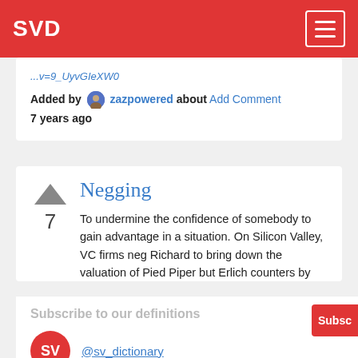SVD
...v=9_UyvGIeXW0
Added by zazpowered about  Add Comment
7 years ago
Negging
To undermine the confidence of somebody to gain advantage in a situation. On Silicon Valley, VC firms neg Richard to bring down the valuation of Pied Piper but Erlich counters by
Subscribe to our definitions
@sv_dictionary
7 years ago